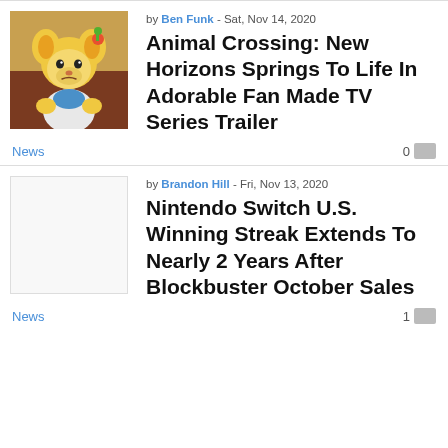[Figure (photo): Thumbnail image of Isabelle character from Animal Crossing]
by Ben Funk - Sat, Nov 14, 2020
Animal Crossing: New Horizons Springs To Life In Adorable Fan Made TV Series Trailer
News
0
[Figure (photo): Empty/placeholder thumbnail for Nintendo Switch article]
by Brandon Hill - Fri, Nov 13, 2020
Nintendo Switch U.S. Winning Streak Extends To Nearly 2 Years After Blockbuster October Sales
News
1